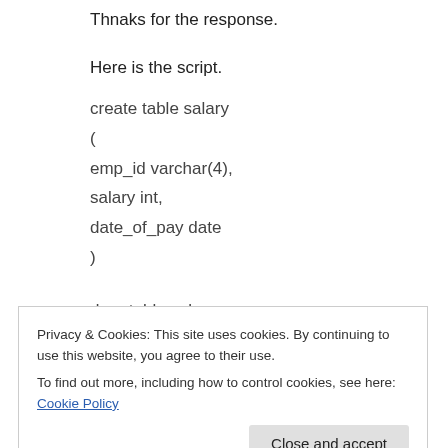Thnaks for the response.
Here is the script.
create table salary
(
emp_id varchar(4),
salary int,
date_of_pay date
)
drop table salary
Privacy & Cookies: This site uses cookies. By continuing to use this website, you agree to their use.
To find out more, including how to control cookies, see here: Cookie Policy
(#E008|05008-|0011/00/00|)